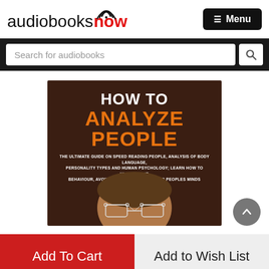[Figure (logo): audiobooksnow logo with wifi icon over the letter o in now, now in red]
[Figure (other): Black rounded rectangle Menu button with hamburger icon]
[Figure (screenshot): Search bar with placeholder text Search for audiobooks and a search icon button, on dark background]
[Figure (photo): Book cover for How To Analyze People audiobook, dark brown background, white and orange title text, subtitle text, partial face of a person with glasses]
Add To Cart
Add to Wish List